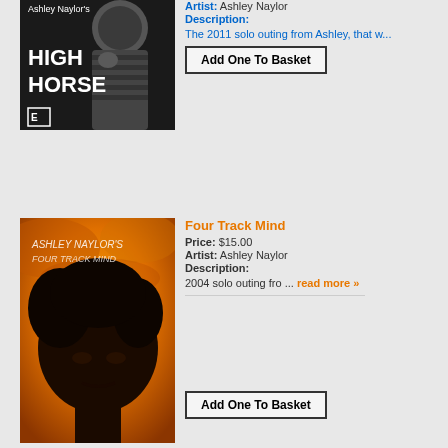[Figure (photo): Album cover for Ashley Naylor's High Horse - black and white photo of a man]
Artist: Ashley Naylor
Description:
The 2011 solo outing from Ashley, that w...
Add One To Basket
[Figure (photo): Album cover for Ashley Naylor's Four Track Mind - orange/amber toned silhouette of a person's face]
Four Track Mind
Price: $15.00
Artist: Ashley Naylor
Description:
2004 solo outing fro ... read more »
Add One To Basket